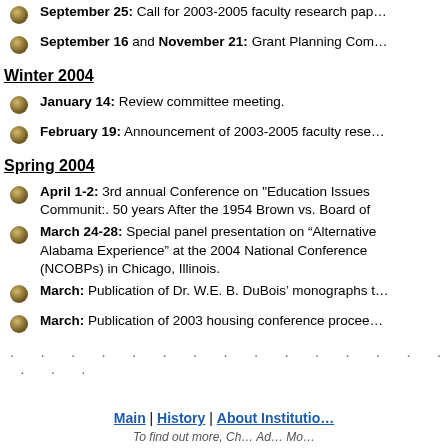September 25: Call for 2003-2005 faculty research papers
September 16 and November 21: Grant Planning Committee meetings
Winter 2004
January 14: Review committee meeting.
February 19: Announcement of 2003-2005 faculty research awards
Spring 2004
April 1-2: 3rd annual Conference on "Education Issues in the Black Communit:. 50 years After the 1954 Brown vs. Board of Education"
March 24-28: Special panel presentation on "Alternative Alabama Experience" at the 2004 National Conference (NCOBPs) in Chicago, Illinois.
March: Publication of Dr. W.E. B. DuBois' monographs
March: Publication of 2003 housing conference proceedings
. . . . . . . . . . . . . . . . . .
Main | History | About Institution
Footer navigation row